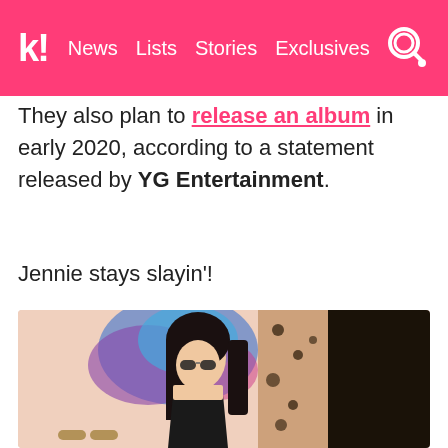k! News Lists Stories Exclusives
They also plan to release an album in early 2020, according to a statement released by YG Entertainment.
Jennie stays slayin'!
[Figure (photo): A young woman with dark hair and sunglasses wearing a black strapless outfit, standing in front of colorful artwork]